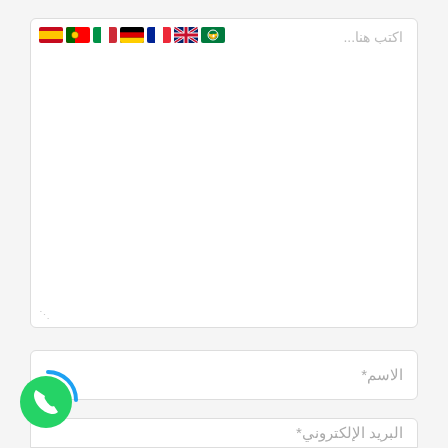[Figure (screenshot): Web form with text area containing flag icons and Arabic placeholder text 'اكتب هنا...', followed by name field with label 'الاسم*', email field with label 'البريد الإلكتروني*', WhatsApp icon, and website field with label 'الموقع']
اكتب هنا...
الاسم*
البريد الإلكتروني*
الموقع